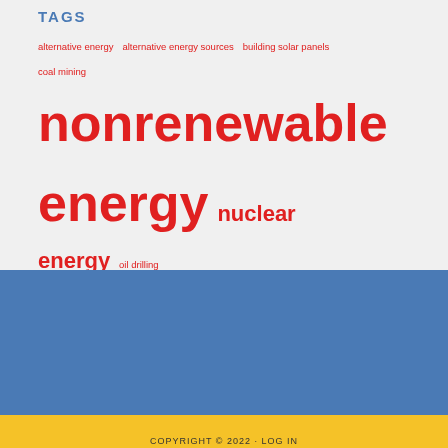TAGS
alternative energy alternative energy sources building solar panels coal mining nonrenewable energy nuclear energy oil drilling renewable energy solar energy solar panels tidal energy tidal power wind energy wind power wind turbine wind turbines
COPYRIGHT © 2022 · LOG IN